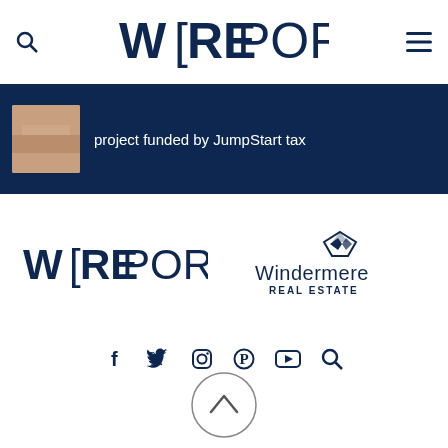W[REPORT] — navigation header with search and menu icons
[Figure (screenshot): Dark blue banner with thumbnail image and text: project funded by JumpStart tax]
[Figure (logo): W[REPORT] logo in dark navy blue]
[Figure (logo): Windermere Real Estate logo in dark navy blue]
[Figure (infographic): Social media icons row: Facebook, Twitter, Instagram, Pinterest, YouTube, Search]
[Figure (other): Back to top circular button with upward chevron]